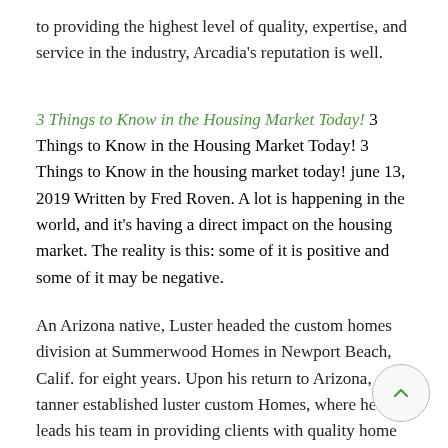to providing the highest level of quality, expertise, and service in the industry, Arcadia's reputation is well.
3 Things to Know in the Housing Market Today! 3 Things to Know in the Housing Market Today! 3 Things to Know in the housing market today! june 13, 2019 Written by Fred Roven. A lot is happening in the world, and it's having a direct impact on the housing market. The reality is this: some of it is positive and some of it may be negative.
An Arizona native, Luster headed the custom homes division at Summerwood Homes in Newport Beach, Calif. for eight years. Upon his return to Arizona, tanner established luster custom Homes, where he leads his team in providing clients with quality home building, remodeling and green building services.